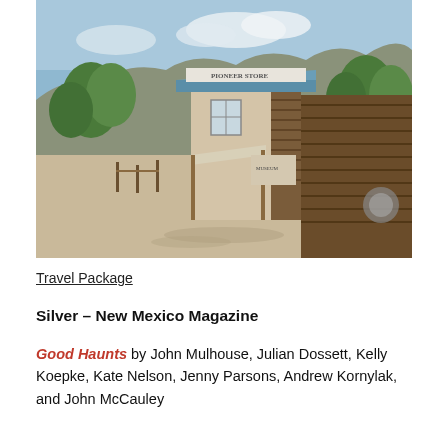[Figure (photo): Photograph of a historic Western-style pioneer store building with a blue metal roof and wooden log siding. A sign reads 'Pioneer Store'. Trees and rocky hills are visible in the background. The dirt road in front has wooden hitching posts.]
Travel Package
Silver – New Mexico Magazine
Good Haunts by John Mulhouse, Julian Dossett, Kelly Koepke, Kate Nelson, Jenny Parsons, Andrew Kornylak, and John McCauley